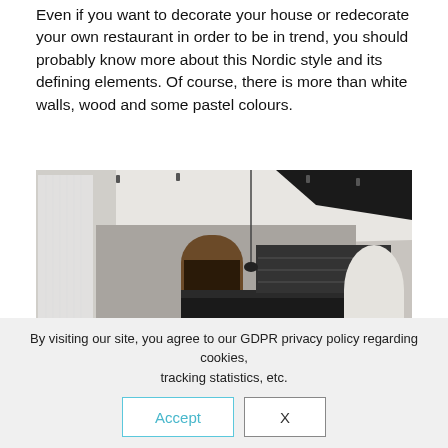Even if you want to decorate your house or redecorate your own restaurant in order to be in trend, you should probably know more about this Nordic style and its defining elements. Of course, there is more than white walls, wood and some pastel colours.
[Figure (photo): Interior of a Nordic-style restaurant with black furniture, white walls, wooden floors, arched doorways, pendant lights, and set tables with glassware.]
By visiting our site, you agree to our GDPR privacy policy regarding cookies, tracking statistics, etc.